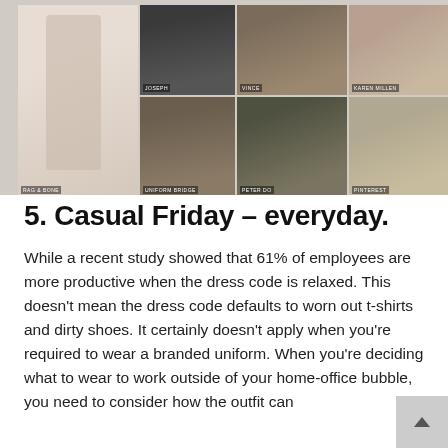[Figure (photo): Fashion photo collage showing neutral-toned workwear and outerwear. Images labeled: Rag & Bone (wide-leg trousers), Joseph (charcoal coat), Uniform Bridge (olive blazer), Vince (taupe jacket), Peter Do (khaki belted jacket), Karen Millen (label visible), Pinterest (camel wrap coat).]
5. Casual Friday – everyday.
While a recent study showed that 61% of employees are more productive when the dress code is relaxed. This doesn't mean the dress code defaults to worn out t-shirts and dirty shoes. It certainly doesn't apply when you're required to wear a branded uniform. When you're deciding what to wear to work outside of your home-office bubble, you need to consider how the outfit can